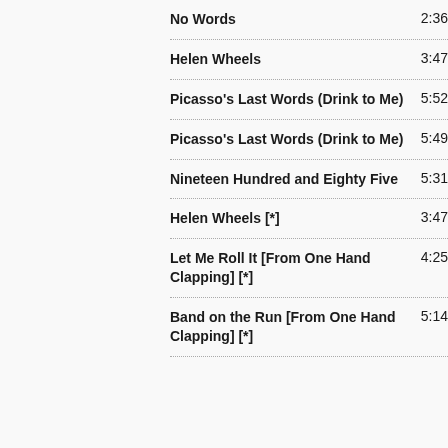No Words 2:36
Helen Wheels 3:47
Picasso's Last Words (Drink to Me) 5:52
Picasso's Last Words (Drink to Me) 5:49
Nineteen Hundred and Eighty Five 5:31
Helen Wheels [*] 3:47
Let Me Roll It [From One Hand Clapping] [*] 4:25
Band on the Run [From One Hand Clapping] [*] 5:14